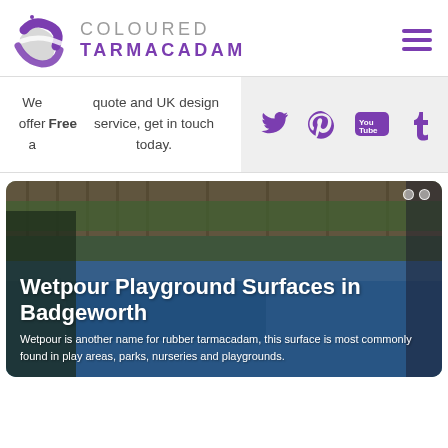[Figure (logo): Coloured Tarmacadam logo with purple swirl globe icon and text 'COLOURED TARMACADAM']
We offer a Free quote and UK design service, get in touch today.
[Figure (infographic): Social media icons: Twitter, Pinterest, YouTube, Tumblr in purple]
[Figure (photo): Wetpour playground surface photo with blue rubber surface in Badgeworth]
Wetpour Playground Surfaces in Badgeworth
Wetpour is another name for rubber tarmacadam, this surface is most commonly found in play areas, parks, nurseries and playgrounds.